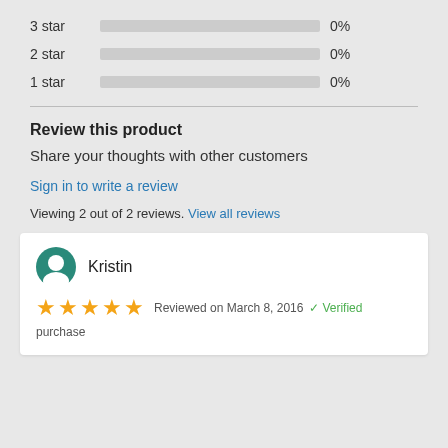[Figure (infographic): Star rating bars: 3 star 0%, 2 star 0%, 1 star 0%]
Review this product
Share your thoughts with other customers
Sign in to write a review
Viewing 2 out of 2 reviews. View all reviews
Kristin — Reviewed on March 8, 2016 — Verified purchase — [review body excerpt]